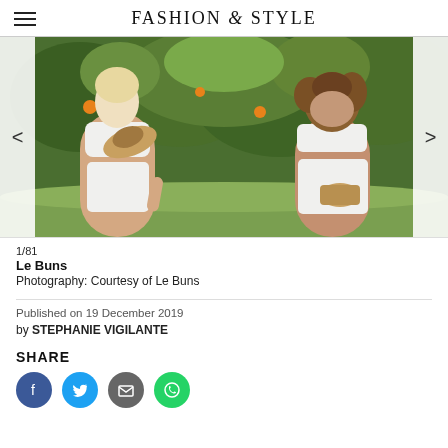FASHION & STYLE
[Figure (photo): Two women in white bikinis walking outdoors in an orchard/garden setting, smiling, one blonde holding a straw hat and basket, one with curly hair holding a basket]
1/81
Le Buns
Photography: Courtesy of Le Buns
Published on 19 December 2019
by STEPHANIE VIGILANTE
SHARE